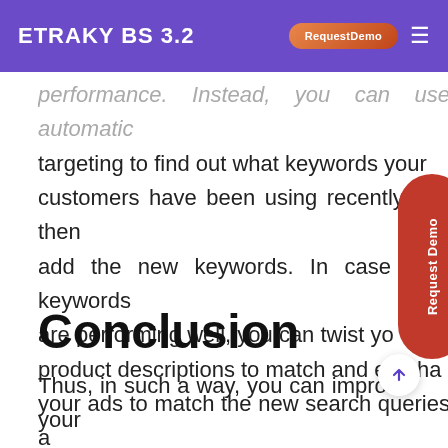ETRAKY BS 3.2 | RequestDemo
performance. Instead, you can use automatic targeting to find out what keywords your customers have been using recently and then add the new keywords. In case your keywords are performing well, you can twist your product descriptions to match and emphasize your ads to match the new search queries and drop those terms that aren't performing well.
Conclusion
Thus, in such a way, you can improve your